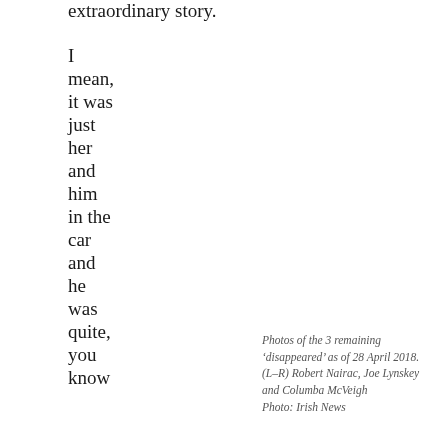extraordinary story.
I
mean,
it was
just
her
and
him
in the
car
and
he
was
quite,
you
know
Photos of the 3 remaining ‘disappeared’ as of 28 April 2018.
(L–R) Robert Nairac, Joe Lynskey and Columba McVeigh
Photo: Irish News